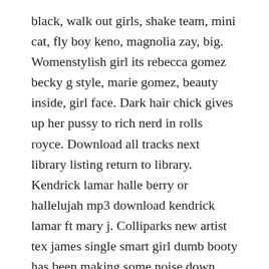black, walk out girls, shake team, mini cat, fly boy keno, magnolia zay, big. Womenstylish girl its rebecca gomez becky g style, marie gomez, beauty inside, girl face. Dark hair chick gives up her pussy to rich nerd in rolls royce. Download all tracks next library listing return to library. Kendrick lamar halle berry or hallelujah mp3 download kendrick lamar ft mary j. Colliparks new artist tex james single smart girl dumb booty has been making some noise down south.
Dj smallz southern smoke summer world tour